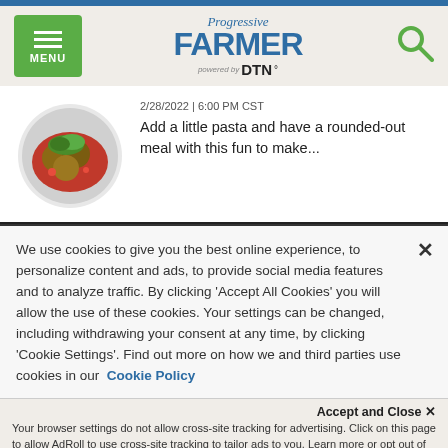Progressive FARMER powered by DTN
2/28/2022 | 6:00 PM CST
Add a little pasta and have a rounded-out meal with this fun to make...
[Figure (photo): Bowl of food — meatballs in tomato sauce with green herbs]
We use cookies to give you the best online experience, to personalize content and ads, to provide social media features and to analyze traffic. By clicking 'Accept All Cookies' you will allow the use of these cookies. Your settings can be changed, including withdrawing your consent at any time, by clicking 'Cookie Settings'. Find out more on how we and third parties use cookies in our Cookie Policy
Accept and Close ×
Your browser settings do not allow cross-site tracking for advertising. Click on this page to allow AdRoll to use cross-site tracking to tailor ads to you. Learn more or opt out of this AdRoll tracking by clicking here. This message only appears once.